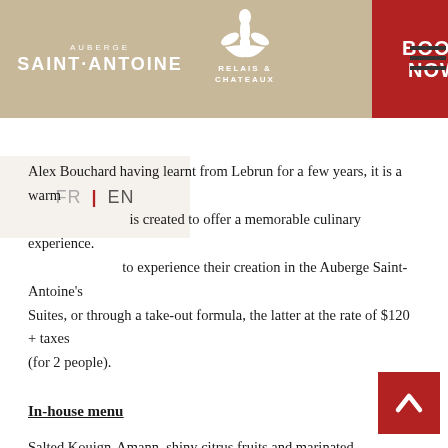AUBERGE SAINT-ANTOINE | RELAIS & CHATEAUX | BOOK NOW
Alex Bouchard having learnt from Lebrun for a few years, it is a warm is created to offer a memorable culinary experience. to experience their creation in the Auberge Saint-Antoine's Suites, or through a take-out formula, the latter at the rate of $120 + taxes (for 2 people).
In-house menu
Salted Kouign-Amann, shiny citrus fruits and marinated Matsutakés | Buckwheat and ricotta cake, blood orange | Cream of roasted Jerusalem artichokes in cider, sorrel Grenoble
*
Buttermilk and horseradish char fillet, watercress purée, artichoke wh cream OR veal loin tataki, shank, celeriac and pears, nasturtiums and pink pepper gremolata